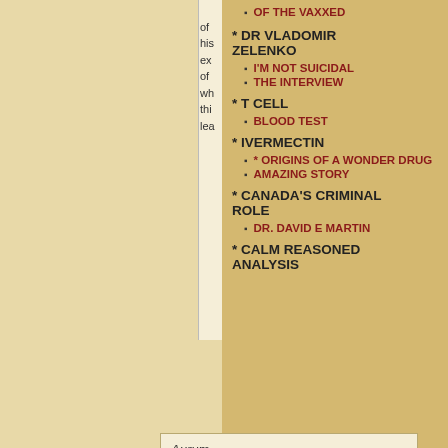of his ex of wh thi lea
OF THE VAXXED
* DR VLADOMIR ZELENKO
I'M NOT SUICIDAL
THE INTERVIEW
* T CELL
BLOOD TEST
* IVERMECTIN
* ORIGINS OF A WONDER DRUG
AMAZING STORY
* CANADA'S CRIMINAL ROLE
DR. DAVID E MARTIN
* CALM REASONED ANALYSIS
Aurum Maximus
3.
March 28, 2020 - 9:26 pm at 9:26 pm
I would like to note that just because the price of gold and silver rises to